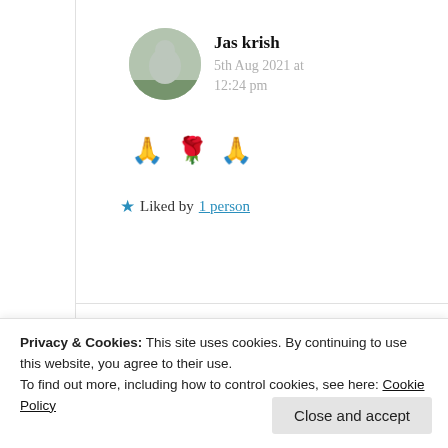[Figure (photo): Circular avatar image showing a Buddha statue silhouette against a light background]
Jas krish
5th Aug 2021 at 12:24 pm
🙏 🌹 🙏
★ Liked by 1 person
Privacy & Cookies: This site uses cookies. By continuing to use this website, you agree to their use.
To find out more, including how to control cookies, see here: Cookie Policy
Close and accept